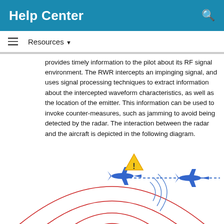Help Center
Resources
provides timely information to the pilot about its RF signal environment. The RWR intercepts an impinging signal, and uses signal processing techniques to extract information about the intercepted waveform characteristics, as well as the location of the emitter. This information can be used to invoke counter-measures, such as jamming to avoid being detected by the radar. The interaction between the radar and the aircraft is depicted in the following diagram.
[Figure (engineering-diagram): Diagram showing interaction between radar and aircraft. Two blue aircraft icons are shown flying horizontally with a dotted path between them. A warning triangle symbol appears near the left aircraft. Blue curved lines show signal reception from the aircraft, while multiple red concentric arcs emanate from a radar source at the bottom center, representing radar detection range.]